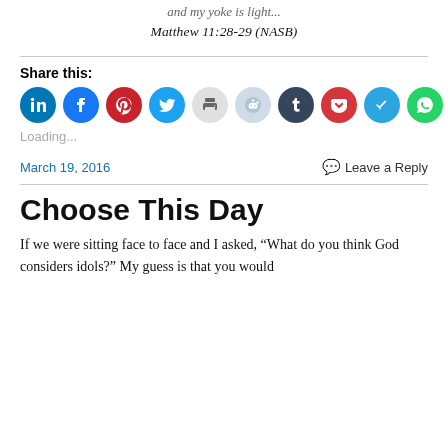and my yoke is light...
Matthew 11:28-29 (NASB)
Share this:
[Figure (other): Row of social media share icon buttons: LinkedIn, Facebook, Pinterest, Twitter, Print, Reddit, Tumblr, Pocket, Telegram, WhatsApp]
Loading...
March 19, 2016
Leave a Reply
Choose This Day
If we were sitting face to face and I asked, “What do you think God considers idols?” My guess is that you would